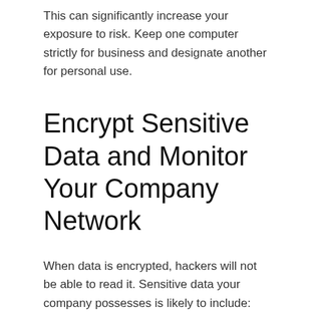This can significantly increase your exposure to risk. Keep one computer strictly for business and designate another for personal use.
Encrypt Sensitive Data and Monitor Your Company Network
When data is encrypted, hackers will not be able to read it. Sensitive data your company possesses is likely to include:
Employee personal information – birthdates, Social